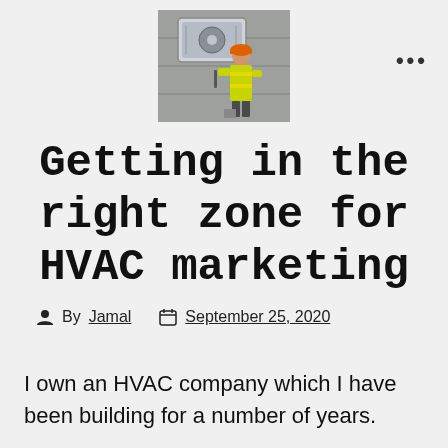[Figure (photo): Photo of an HVAC unit mounted on a concrete wall with a worker in a yellow vest and orange hard hat working on it]
Getting in the right zone for HVAC marketing
By Jamal   September 25, 2020
I own an HVAC company which I have been building for a number of years.